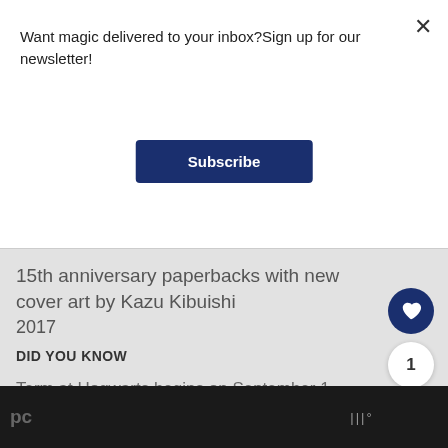Want magic delivered to your inbox?Sign up for our newsletter!
Subscribe
15th anniversary paperbacks with new cover art by Kazu Kibuishi
2017
DID YOU KNOW
Term at Hogwarts begins on September 1.
pc  |||°